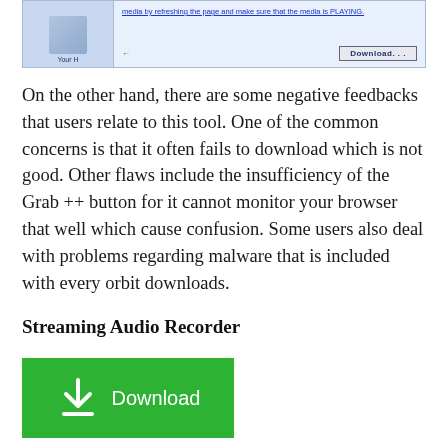[Figure (screenshot): Screenshot of a web browser interface showing a video/media player area with a Download button on the right side. The left portion shows a blue-tinted image area with 'Your H[ome]' label. Text reads: 'media by refreshing the page and make sure that the media is PLAYING.' A 'Download...' button is visible on the right.]
On the other hand, there are some negative feedbacks that users relate to this tool. One of the common concerns is that it often fails to download which is not good. Other flaws include the insufficiency of the Grab ++ button for it cannot monitor your browser that well which cause confusion. Some users also deal with problems regarding malware that is included with every orbit downloads.
Streaming Audio Recorder
[Figure (screenshot): Green Download button with a download arrow icon and the text 'Download']